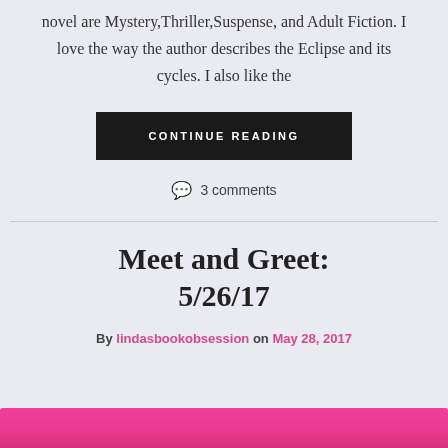novel are Mystery, Thriller, Suspense, and Adult Fiction. I love the way the author describes the Eclipse and its cycles. I also like the
CONTINUE READING
3 comments
Meet and Greet: 5/26/17
By lindasbookobsession on May 28, 2017
[Figure (photo): Pink/magenta colored background image at the bottom of the page]